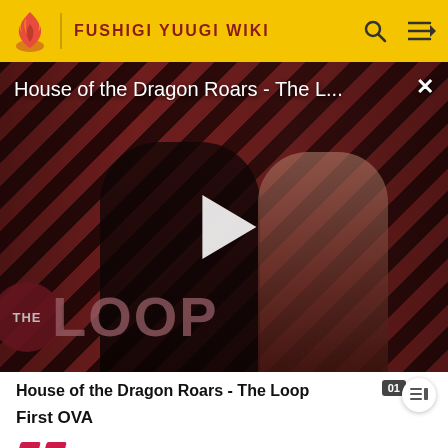FUSHIGI YUUGI WIKI
[Figure (screenshot): Video player thumbnail for 'House of the Dragon Roars - The L...' showing two characters against a diagonal red/black stripe background with 'THE LOOP' logo overlay and a play button in the center]
House of the Dragon Roars - The Loop
First OVA